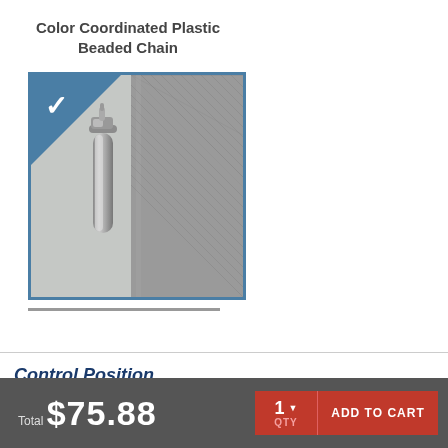Color Coordinated Plastic Beaded Chain
[Figure (photo): Close-up photo of a silver/chrome beaded chain connector hardware piece against a textured background, with a teal triangle overlay in the top-left corner featuring a white checkmark.]
Control Position
Total $75.88
1 QTY
ADD TO CART